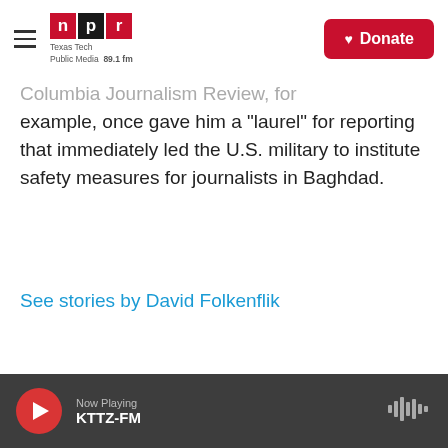NPR | Texas Tech Public Media 89.1 fm | Donate
Columbia Journalism Review, for example, once gave him a "laurel" for reporting that immediately led the U.S. military to institute safety measures for journalists in Baghdad.
See stories by David Folkenflik
Comments  Community  🔒  1  Login
♡ Favorite  Sort by Best
Now Playing KTTZ-FM